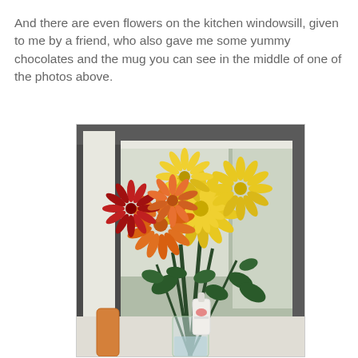And there are even flowers on the kitchen windowsill, given to me by a friend, who also gave me some yummy chocolates and the mug you can see in the middle of one of the photos above.
[Figure (photo): A bouquet of yellow, orange, and red chrysanthemum flowers in a clear glass vase on a kitchen windowsill, with a white hand soap/lotion bottle visible in the foreground and a window with natural light behind.]